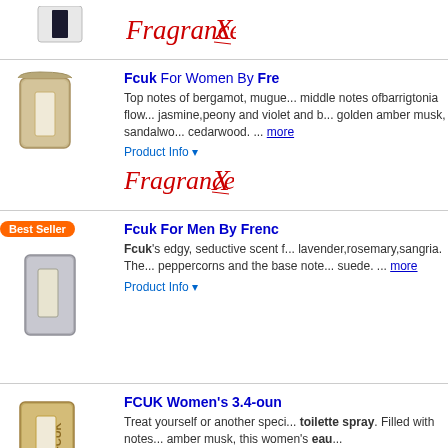[Figure (photo): Partial product listing row at top with a perfume image and FragranceX logo]
[Figure (photo): FCUK For Women perfume bottle in golden case, open]
Fcuk For Women By Fre... Top notes of bergamot, mugue... middle notes ofbarrigtonia flow... jasmine,peony and violet and b... golden amber musk, sandalwo... cedarwood. ... more
Product Info ▾
[Figure (logo): FragranceX logo in red]
[Figure (photo): FCUK For Men perfume bottle in silver/grey case with Best Seller badge]
Fcuk For Men By Frenc... Fcuk's edgy, seductive scent f... lavender,rosemary,sangria. The... peppercorns and the base note... suede. ... more
Product Info ▾
[Figure (photo): FCUK Women's 3.4-ounce perfume bottle in golden case]
FCUK Women's 3.4-oun... Treat yourself or another speci... toilette spray. Filled with notes... amber musk, this women's eau...
Product Info ▾
[Figure (photo): Fcuk Late Night Women perfume]
Fcuk Late Night Women...